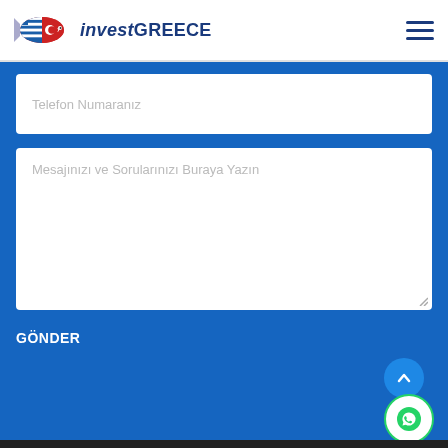[Figure (logo): investGREECE logo with Greek and Turkish flag fish icon]
Telefon Numaranız
Mesajınızı ve Sorularınızı Buraya Yazın
GÖNDER